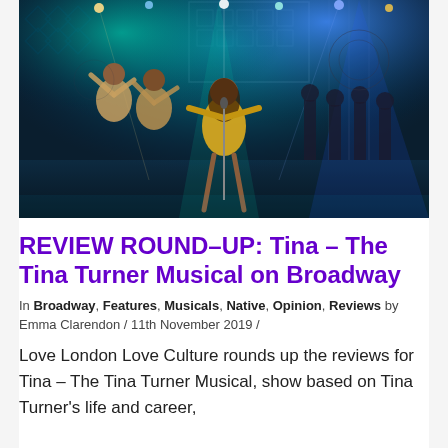[Figure (photo): Stage performance photo of Tina Turner Musical on Broadway. Center performer in gold fringe costume at microphone, two backup dancers in silver/blue outfits on left, band members visible on right, colorful stage lighting with teal and blue spotlights.]
REVIEW ROUND–UP: Tina – The Tina Turner Musical on Broadway
In Broadway, Features, Musicals, Native, Opinion, Reviews by Emma Clarendon / 11th November 2019 /
Love London Love Culture rounds up the reviews for Tina – The Tina Turner Musical, show based on Tina Turner's life and career,